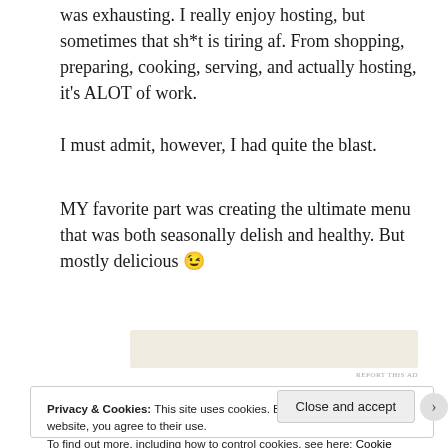was exhausting. I really enjoy hosting, but sometimes that sh*t is tiring af. From shopping, preparing, cooking, serving, and actually hosting, it's ALOT of work.
I must admit, however, I had quite the blast.
MY favorite part was creating the ultimate menu that was both seasonally delish and healthy. But mostly delicious 😉
[Figure (other): Advertisement banner placeholder with beige/cream background]
Privacy & Cookies: This site uses cookies. By continuing to use this website, you agree to their use.
To find out more, including how to control cookies, see here: Cookie Policy